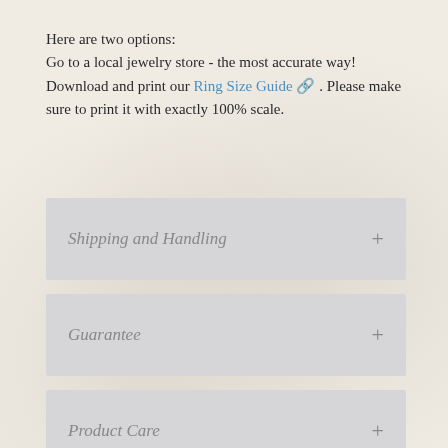Here are two options:
Go to a local jewelry store - the most accurate way!
Download and print our Ring Size Guide 🔗. Please make sure to print it with exactly 100% scale.
Shipping and Handling
Guarantee
Product Care
What Do I Get?